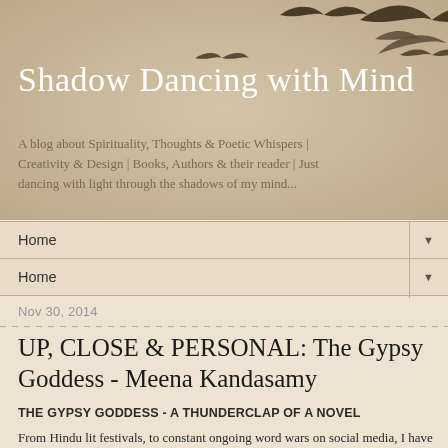[Figure (illustration): Blog header with sandy beige background and silhouettes of birds flying in upper right area]
Shadow Dancing with Mind
A blog about Spirituality, Thoughts & Poetic Whispers | Creativity & Design | Books, Authors & their reader | Just dancing with light through the shadows of my mind...
Home ▼
Home ▼
Nov 30, 2014
UP, CLOSE & PERSONAL: The Gypsy Goddess - Meena Kandasamy
THE GYPSY GODDESS - A THUNDERCLAP OF A NOVEL
From Hindu lit festivals, to constant ongoing word wars on social media, I have been watching Author Meena Kandasamy's journey to becoming